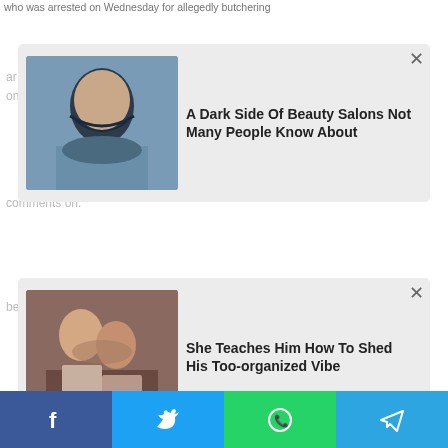who was arrested on Wednesday for allegedly butchering
[Figure (photo): Woman getting hair washed at salon]
A Dark Side Of Beauty Salons Not Many People Know About
ar billion. one of the men grabbed him and refused her comments on.
[Figure (photo): Couple in intimate scene]
She Teaches Him How To Shed His Too-organized Vibe
SPONSORED CONTENT
[Figure (logo): mgid logo with play arrow]
[Figure (photo): Curvy woman with baby, body positive]
Curvy Body Positive Instagram Influencers You Should Follow
Herbeauty
[Figure (photo): Close up of person's eye]
The Adverse Psychological Effects Of